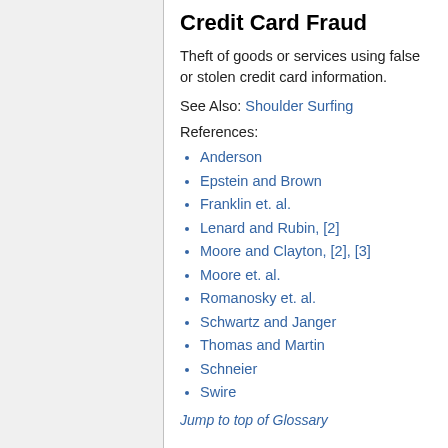Credit Card Fraud
Theft of goods or services using false or stolen credit card information.
See Also: Shoulder Surfing
References:
Anderson
Epstein and Brown
Franklin et. al.
Lenard and Rubin, [2]
Moore and Clayton, [2], [3]
Moore et. al.
Romanosky et. al.
Schwartz and Janger
Thomas and Martin
Schneier
Swire
Jump to top of Glossary